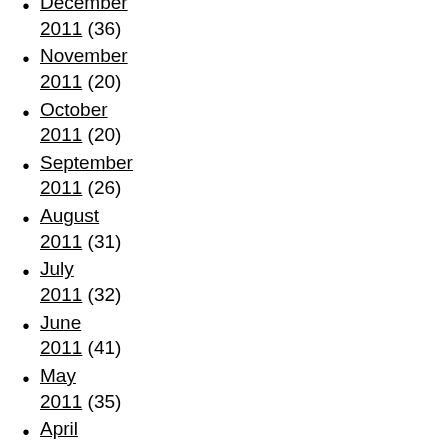December 2011 (36)
November 2011 (20)
October 2011 (20)
September 2011 (26)
August 2011 (31)
July 2011 (32)
June 2011 (41)
May 2011 (35)
April 2011 (15)